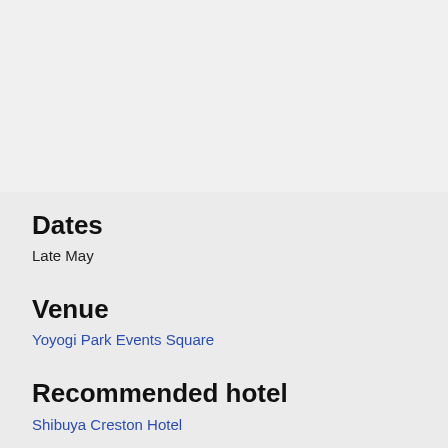Dates
Late May
Venue
Yoyogi Park Events Square
Recommended hotel
Shibuya Creston Hotel